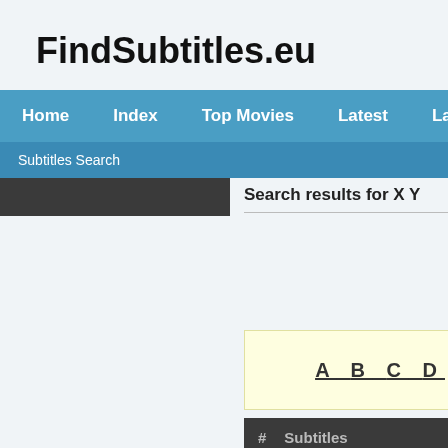FindSubtitles.eu
Home  Index  Top Movies  Latest  Languages
Subtitles Search
Search results for X Y
A B C D
| # | Subtitles |
| --- | --- |
| 1 | Title: Guardians of the Galaxy Vo |
1  Title: Guardians of the Galaxy Vo